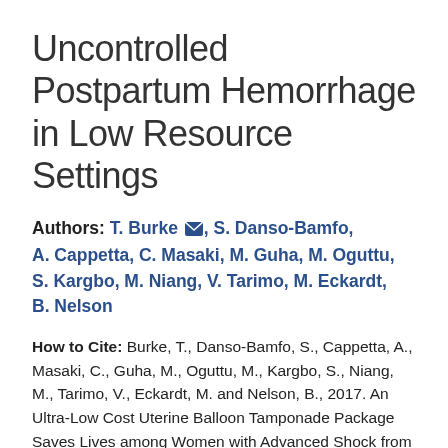Uncontrolled Postpartum Hemorrhage in Low Resource Settings
Authors: T. Burke, S. Danso-Bamfo, A. Cappetta, C. Masaki, M. Guha, M. Oguttu, S. Kargbo, M. Niang, V. Tarimo, M. Eckardt, B. Nelson
How to Cite: Burke, T., Danso-Bamfo, S., Cappetta, A., Masaki, C., Guha, M., Oguttu, M., Kargbo, S., Niang, M., Tarimo, V., Eckardt, M. and Nelson, B., 2017. An Ultra-Low Cost Uterine Balloon Tamponade Package Saves Lives among Women with Advanced Shock from Uncontrolled Postpartum Hemorrhage in Low Resource Settings.